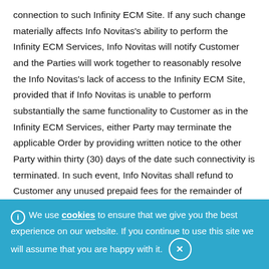connection to such Infinity ECM Site. If any such change materially affects Info Novitas's ability to perform the Infinity ECM Services, Info Novitas will notify Customer and the Parties will work together to reasonably resolve the Info Novitas's lack of access to the Infinity ECM Site, provided that if Info Novitas is unable to perform substantially the same functionality to Customer as in the Infinity ECM Services, either Party may terminate the applicable Order by providing written notice to the other Party within thirty (30) days of the date such connectivity is terminated. In such event, Info Novitas shall refund to Customer any unused prepaid fees for the remainder of the applicable Term as its sole and exclusive remedy
We use cookies to ensure that we give you the best experience on our website. If you continue to use this site we will assume that you are happy with it.